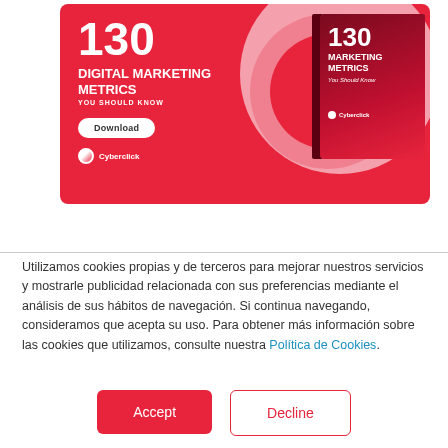[Figure (infographic): Promotional banner for '130 Digital Marketing Metrics You Should Know' ebook by Cyberclick with a red background, decorative circles, a Download button, and a 3D book mockup on the right.]
Utilizamos cookies propias y de terceros para mejorar nuestros servicios y mostrarle publicidad relacionada con sus preferencias mediante el análisis de sus hábitos de navegación. Si continua navegando, consideramos que acepta su uso. Para obtener más información sobre las cookies que utilizamos, consulte nuestra Política de Cookies.
Accept
Decline